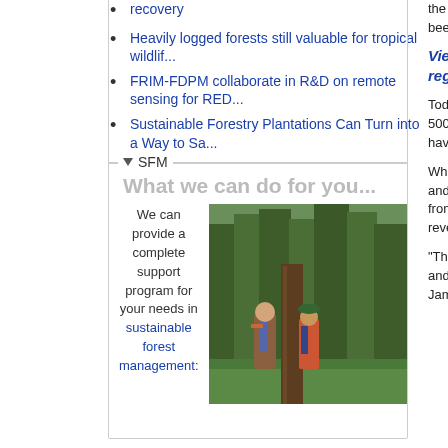recovery
Heavily logged forests still valuable for tropical wildlif...
FRIM-FDPM collaborate in R&D on remote sensing for RED...
Sustainable Forestry Plantations Can Turn into a Way to Sa...
SFM
What we can do for you...
We can provide a complete support program for your needs in sustainable forest management:
[Figure (photo): Two people in a forest examining a large tree trunk, surrounded by tall conifers and green undergrowth]
the world where artificially seeded been regeneratin
View a slideshow regeneration
Today the Forest (FRIM) has a reg 500 hectares and Japanese occupa have a largely un diversity and size
What researchers is significant, as s and other tropica the United Natio from degradation and deforestation reversed, how lor be—to replace th
"This is certainly regeneration exp —and it's really b Australian laurea James Cook Univ